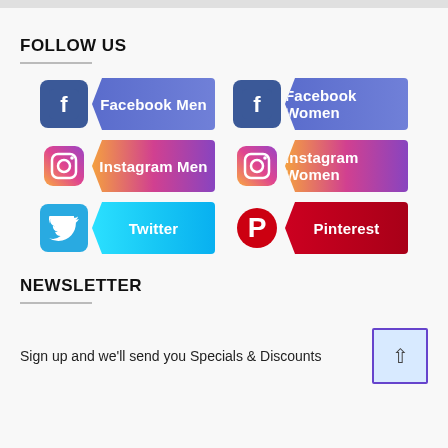FOLLOW US
[Figure (infographic): Six social media follow buttons arranged in a 2x3 grid: Facebook Men, Facebook Women, Instagram Men, Instagram Women, Twitter, Pinterest. Each button has an icon on the left and a colored arrow-shape label on the right.]
NEWSLETTER
Sign up and we'll send you Specials & Discounts